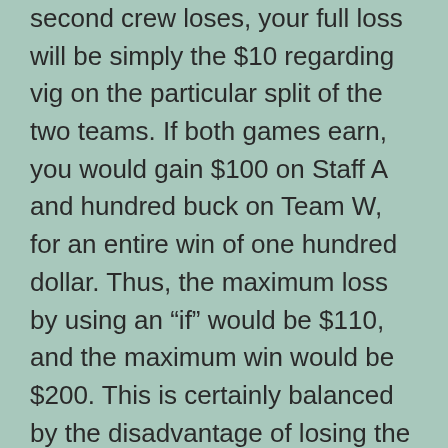second crew loses, your full loss will be simply the $10 regarding vig on the particular split of the two teams. If both games earn, you would gain $100 on Staff A and hundred buck on Team W, for an entire win of one hundred dollar. Thus, the maximum loss by using an “if” would be $110, and the maximum win would be $200. This is certainly balanced by the disadvantage of losing the full $110, instead involving just $10 regarding vig, every occasion the teams divided with the very first crew in the gamble losing.
As a person can see, that matters a good deal